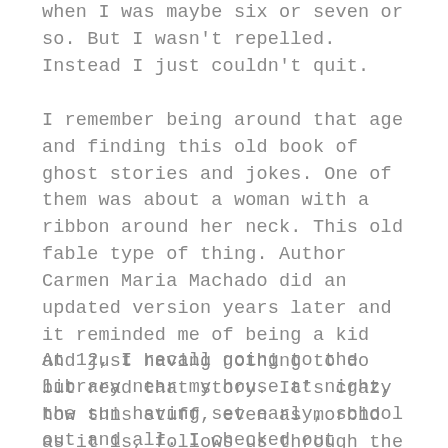when I was maybe six or seven or so. But I wasn't repelled. Instead I just couldn't quit.
I remember being around that age and finding this old book of ghost stories and jokes. One of them was about a woman with a ribbon around her neck. This old fable type of thing. Author Carmen Maria Machado did an updated version years later and it reminded me of being a kid and just having nothing to do but read that story. It's crazy how this stuff, even as morbid as it is, follows us through the years.
At 12, I recall going to the library near my house at night, the sun having set early, school out and all. I checked out several Stephen King books. Back then there wasn't really any social media – I